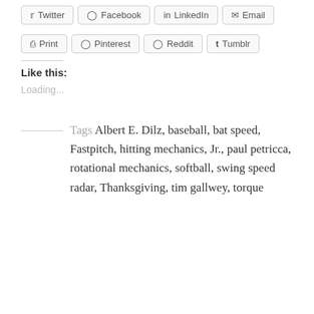Twitter, Facebook, LinkedIn, Email, Print, Pinterest, Reddit, Tumblr
Like this:
Loading...
Tags Albert E. Dilz, baseball, bat speed, Fastpitch, hitting mechanics, Jr., paul petricca, rotational mechanics, softball, swing speed radar, Thanksgiving, tim gallwey, torque